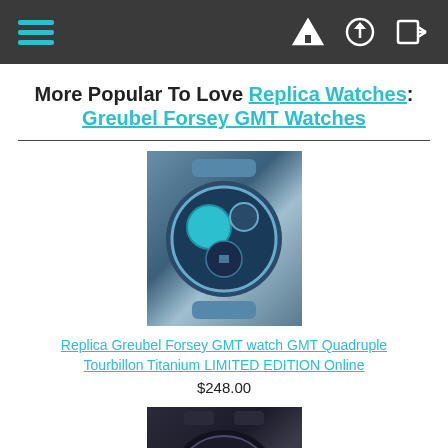Navigation bar with hamburger menu and icons
More Popular To Love Replica Watches: Greubel Forsey GMT Watches
[Figure (photo): Replica Greubel Forsey GMT watch with blue dial and strap]
Replica Greubel Forsey GMT watch GMT Quadruple Tourbillon Titanium LIMITED EDITION Online
$248.00
[Figure (photo): Replica Greubel Forsey watch with dark skeleton dial and leather strap]